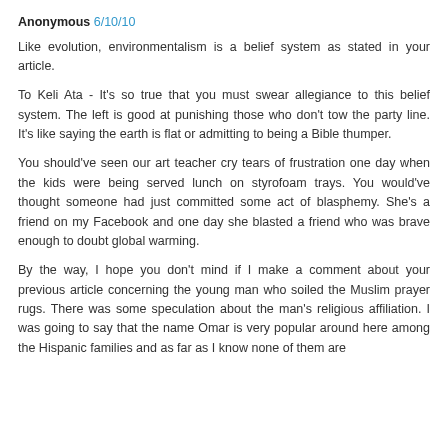Anonymous 6/10/10
Like evolution, environmentalism is a belief system as stated in your article.
To Keli Ata - It's so true that you must swear allegiance to this belief system. The left is good at punishing those who don't tow the party line. It's like saying the earth is flat or admitting to being a Bible thumper.
You should've seen our art teacher cry tears of frustration one day when the kids were being served lunch on styrofoam trays. You would've thought someone had just committed some act of blasphemy. She's a friend on my Facebook and one day she blasted a friend who was brave enough to doubt global warming.
By the way, I hope you don't mind if I make a comment about your previous article concerning the young man who soiled the Muslim prayer rugs. There was some speculation about the man's religious affiliation. I was going to say that the name Omar is very popular around here among the Hispanic families and as far as I know none of them are